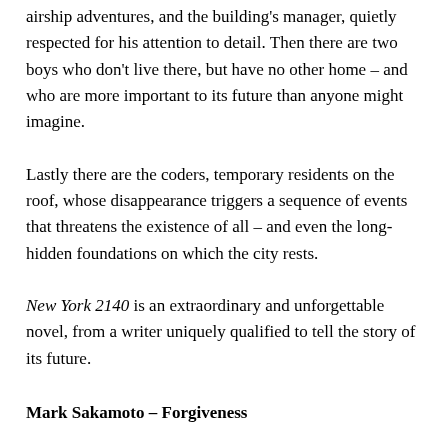airship adventures, and the building's manager, quietly respected for his attention to detail. Then there are two boys who don't live there, but have no other home – and who are more important to its future than anyone might imagine.
Lastly there are the coders, temporary residents on the roof, whose disappearance triggers a sequence of events that threatens the existence of all – and even the long-hidden foundations on which the city rests.
New York 2140 is an extraordinary and unforgettable novel, from a writer uniquely qualified to tell the story of its future.
Mark Sakamoto – Forgiveness
WINNER of CBC Canada Reads; Finalist for the Edna Staebler Award for Creative Non-Fiction and